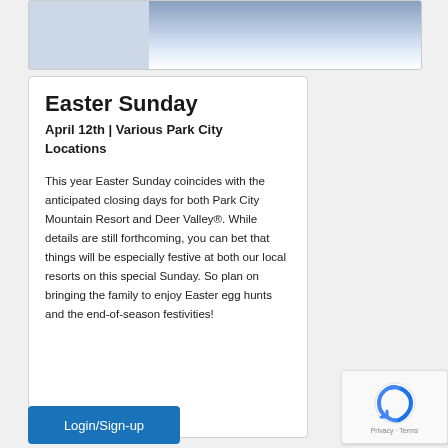[Figure (photo): Partial photo of a snowy mountain or cloudy sky scene, cropped at top of page]
Easter Sunday
April 12th |  Various Park City Locations
This year Easter Sunday coincides with the anticipated closing days for both Park City Mountain Resort and Deer Valley®. While details are still forthcoming, you can bet that things will be especially festive at both our local resorts on this special Sunday. So plan on bringing the family to enjoy Easter egg hunts and the end-of-season festivities!
Login/Sign-up